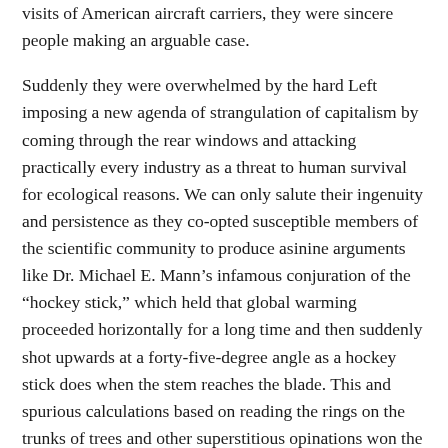visits of American aircraft carriers, they were sincere people making an arguable case.
Suddenly they were overwhelmed by the hard Left imposing a new agenda of strangulation of capitalism by coming through the rear windows and attacking practically every industry as a threat to human survival for ecological reasons. We can only salute their ingenuity and persistence as they co-opted susceptible members of the scientific community to produce asinine arguments like Dr. Michael E. Mann’s infamous conjuration of the “hockey stick,” which held that global warming proceeded horizontally for a long time and then suddenly shot upwards at a forty-five-degree angle as a hockey stick does when the stem reaches the blade. This and spurious calculations based on reading the rings on the trunks of trees and other superstitious opinations won the approval of a huge gallery of gullible, faddish, and cynical people. They made an unlikely coalition: Al Gore became a centimillionaire on this issue; the Prince of Wales mounted a great hobby horse that he still rides,